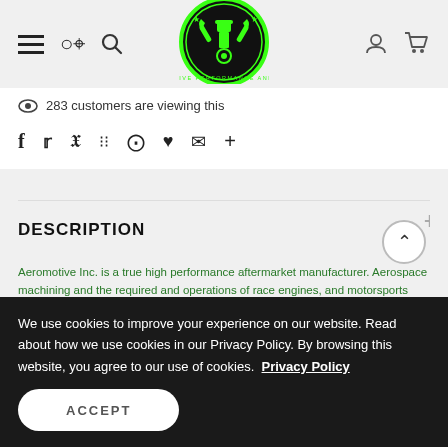Automotive Performance and Tuning — site header with hamburger menu, search, logo, user, and cart icons
283 customers are viewing this
Social share icons: Facebook, Twitter, Pinterest, Grid, Bookmark, Heart, Email, Plus
DESCRIPTION
Aeromotive Inc. is a true high performance aftermarket manufacturer. Aerospace machining and the required and operations of race engines, and motorsports engineering. Aeromotive Fuel Systems has come the absolute ultimate performance fuel delivery.
We use cookies to improve your experience on our website. Read about how we use cookies in our Privacy Policy. By browsing this website, you agree to our use of cookies.  Privacy Policy
ACCEPT
ADD TO CART